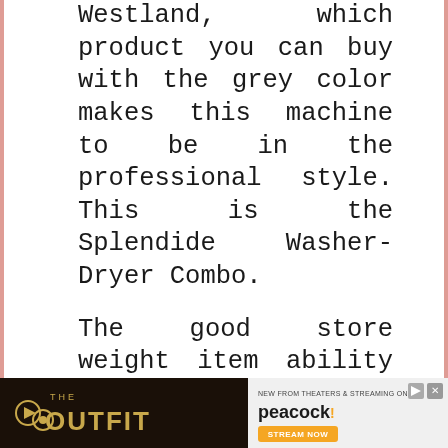Westland, which product you can buy with the grey color makes this machine to be in the professional style. This is the Splendide Washer-Dryer Combo.
The good store weight item ability for your house, which can load clothes up to 145 Pounds in the one washing time, it means you can wash a lot of clothes with item machine weight, extreme strength for washing, and you have a number of clean clothes after
[Figure (other): Advertisement banner for 'The Outfit' movie/show on Peacock streaming service. Dark background on left with gold text reading 'THE OUTFIT', right side shows Peacock branding with 'STREAM NOW' button.]